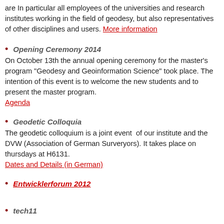are In particular all employees of the universities and research institutes working in the field of geodesy, but also representatives of other disciplines and users. More information
Opening Ceremony 2014
On October 13th the annual opening ceremony for the master's program "Geodesy and Geoinformation Science" took place. The intention of this event is to welcome the new students and to present the master program.
Agenda
Geodetic Colloquia
The geodetic colloquium is a joint event  of our institute and the DVW (Association of German Surveryors). It takes place on thursdays at H6131.
Dates and Details (in German)
Entwicklerforum 2012
tech11